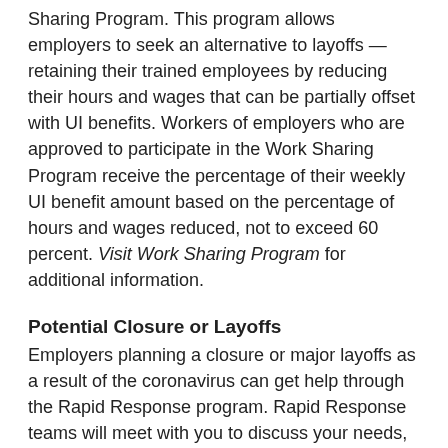Sharing Program. This program allows employers to seek an alternative to layoffs — retaining their trained employees by reducing their hours and wages that can be partially offset with UI benefits. Workers of employers who are approved to participate in the Work Sharing Program receive the percentage of their weekly UI benefit amount based on the percentage of hours and wages reduced, not to exceed 60 percent. Visit Work Sharing Program for additional information.
Potential Closure or Layoffs
Employers planning a closure or major layoffs as a result of the coronavirus can get help through the Rapid Response program. Rapid Response teams will meet with you to discuss your needs, help avert potential layoffs, and provide immediate on-site services to assist workers facing job losses. For more information, refer to the Rapid Response Services for Businesses Fact Sheet (DE 87144RRB)(PDF) or contact